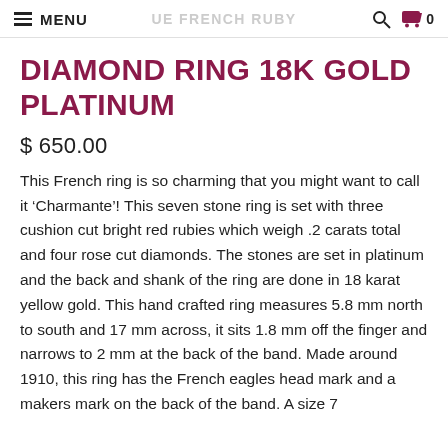MENU | ANTIQUE FRENCH RUBY | search | cart 0
DIAMOND RING 18K GOLD PLATINUM
$ 650.00
This French ring is so charming that you might want to call it ‘Charmante’! This seven stone ring is set with three cushion cut bright red rubies which weigh .2 carats total and four rose cut diamonds. The stones are set in platinum and the back and shank of the ring are done in 18 karat yellow gold. This hand crafted ring measures 5.8 mm north to south and 17 mm across, it sits 1.8 mm off the finger and narrows to 2 mm at the back of the band. Made around 1910, this ring has the French eagles head mark and a makers mark on the back of the band. A size 7